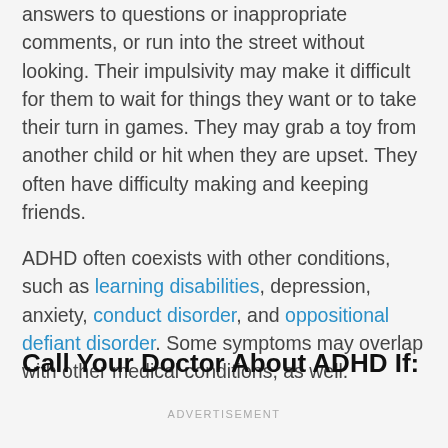answers to questions or inappropriate comments, or run into the street without looking. Their impulsivity may make it difficult for them to wait for things they want or to take their turn in games. They may grab a toy from another child or hit when they are upset. They often have difficulty making and keeping friends.
ADHD often coexists with other conditions, such as learning disabilities, depression, anxiety, conduct disorder, and oppositional defiant disorder. Some symptoms may overlap with other medical conditions, as well.
Call Your Doctor About ADHD If:
ADVERTISEMENT